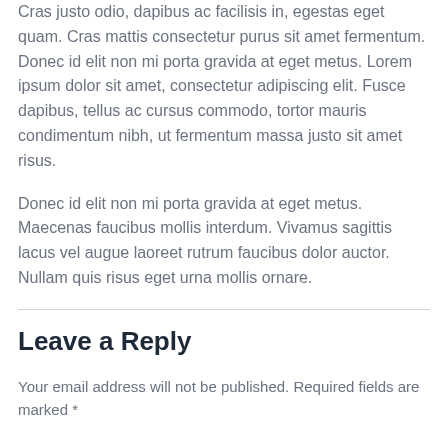Cras justo odio, dapibus ac facilisis in, egestas eget quam. Cras mattis consectetur purus sit amet fermentum. Donec id elit non mi porta gravida at eget metus. Lorem ipsum dolor sit amet, consectetur adipiscing elit. Fusce dapibus, tellus ac cursus commodo, tortor mauris condimentum nibh, ut fermentum massa justo sit amet risus.
Donec id elit non mi porta gravida at eget metus. Maecenas faucibus mollis interdum. Vivamus sagittis lacus vel augue laoreet rutrum faucibus dolor auctor. Nullam quis risus eget urna mollis ornare.
Leave a Reply
Your email address will not be published. Required fields are marked *